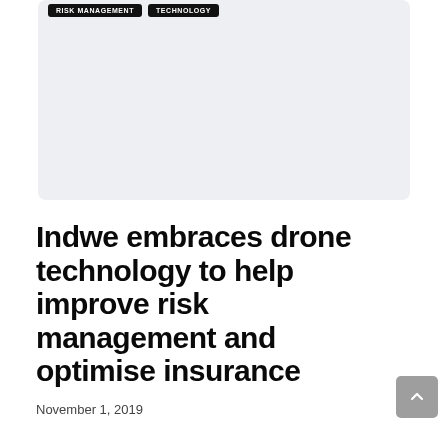[Figure (other): Light grey placeholder image area with rounded corners, representing an article hero image]
RISK MANAGEMENT   TECHNOLOGY
Indwe embraces drone technology to help improve risk management and optimise insurance
November 1, 2019